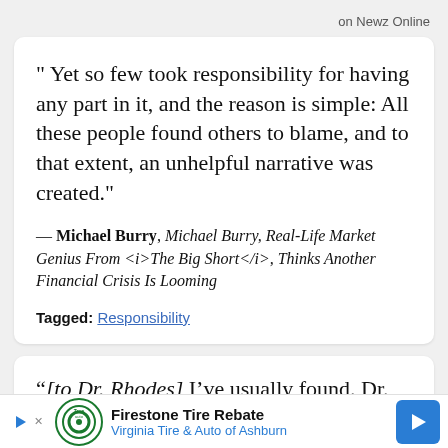on Newz Online
“ Yet so few took responsibility for having any part in it, and the reason is simple: All these people found others to blame, and to that extent, an unhelpful narrative was created.”
— Michael Burry, Michael Burry, Real-Life Market Genius From <i>The Big Short</i>, Thinks Another Financial Crisis Is Looming
Tagged: Responsibility
“[to Dr. Rhodes] I’ve usually found. Dr. Rhodes.
[Figure (other): Advertisement banner: Firestone Tire Rebate, Virginia Tire & Auto of Ashburn, with play button, tire logo, and blue arrow navigation icon]